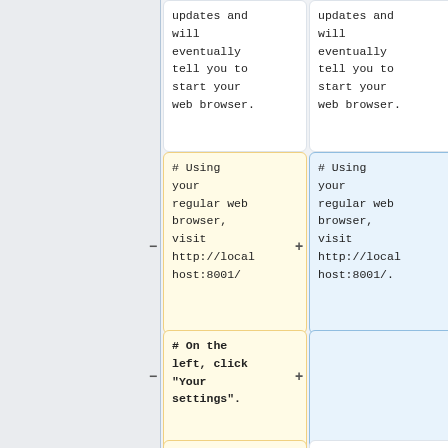updates and will eventually tell you to start your web browser.
updates and will eventually tell you to start your web browser.
# Using your regular web browser, visit http://localhost:8001/
# Using your regular web browser, visit http://localhost:8001/.
# On the left, click "Your settings".
# Choose a username -
A [https://www